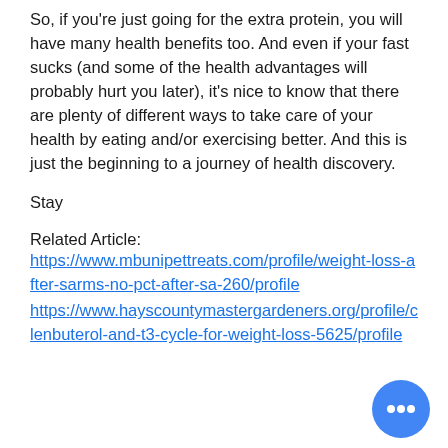So, if you're just going for the extra protein, you will have many health benefits too. And even if your fast sucks (and some of the health advantages will probably hurt you later), it's nice to know that there are plenty of different ways to take care of your health by eating and/or exercising better. And this is just the beginning to a journey of health discovery.
Stay
Related Article:
https://www.mbunipettreats.com/profile/weight-loss-after-sarms-no-pct-after-sa-260/profile
https://www.hayscountymastergardeners.org/profile/clenbuterol-and-t3-cycle-for-weight-loss-5625/profile